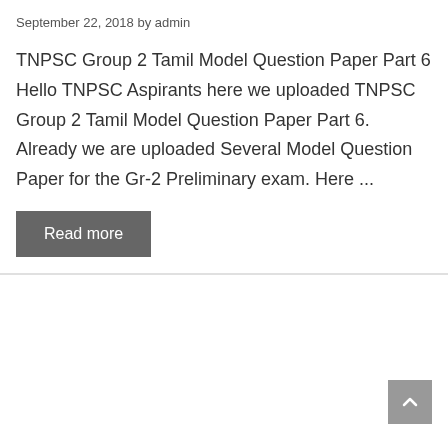September 22, 2018 by admin
TNPSC Group 2 Tamil Model Question Paper Part 6 Hello TNPSC Aspirants here we uploaded TNPSC Group 2 Tamil Model Question Paper Part 6. Already we are uploaded Several Model Question Paper for the Gr-2 Preliminary exam. Here ...
Read more